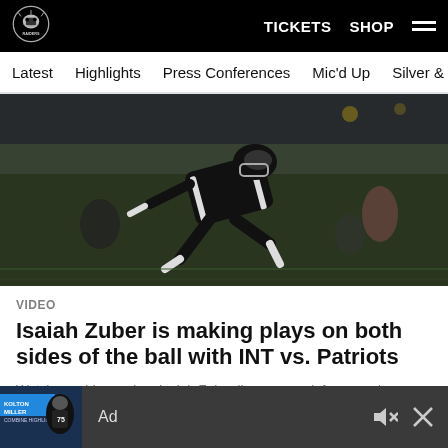Raiders | TICKETS SHOP
Latest  Highlights  Press Conferences  Mic'd Up  Silver & Black
[Figure (photo): Football player in Raiders black and white uniform running on field during a game, blurred background with other players visible]
VIDEO
Isaiah Zuber is making plays on both sides of the ball with INT vs. Patriots
Watch as wide receiver Isaiah Zuber lines up on defense and intercepts Patriots quarterback Bailey Zappe.
[Figure (photo): Ad banner: Kolton Miller combine highlights with player image]
Ad